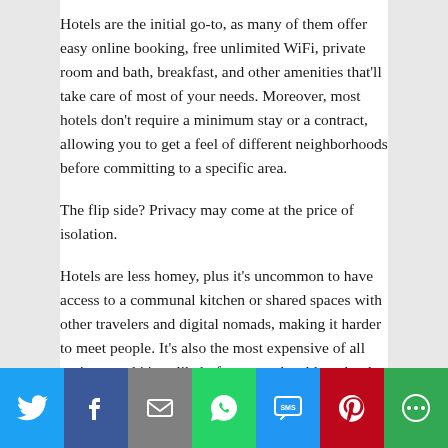Hotels are the initial go-to, as many of them offer easy online booking, free unlimited WiFi, private room and bath, breakfast, and other amenities that'll take care of most of your needs. Moreover, most hotels don't require a minimum stay or a contract, allowing you to get a feel of different neighborhoods before committing to a specific area.
The flip side? Privacy may come at the price of isolation.
Hotels are less homey, plus it's uncommon to have access to a communal kitchen or shared spaces with other travelers and digital nomads, making it harder to meet people. It's also the most expensive of all options–and it's unlikely for you to be able to book longer than 30 days online. This means you're limited to short stays unless you speak with the hotel staff in person and arrange an extended stay.
[Figure (infographic): Social media share bar with buttons for Twitter, Facebook, Email, WhatsApp, SMS, Pinterest, and More]